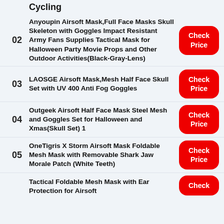Cycling
02 Anyoupin Airsoft Mask,Full Face Masks Skull Skeleton with Goggles Impact Resistant Army Fans Supplies Tactical Mask for Halloween Party Movie Props and Other Outdoor Activities(Black-Gray-Lens) — Check Price
03 LAOSGE Airsoft Mask,Mesh Half Face Skull Set with UV 400 Anti Fog Goggles — Check Price
04 Outgeek Airsoft Half Face Mask Steel Mesh and Goggles Set for Halloween and Xmas(Skull Set) 1 — Check Price
05 OneTigris X Storm Airsoft Mask Foldable Mesh Mask with Removable Shark Jaw Morale Patch (White Teeth) — Check Price
Tactical Foldable Mesh Mask with Ear Protection for Airsoft — Check